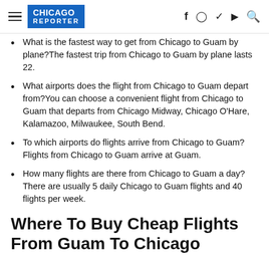CHICAGO REPORTER
What is the fastest way to get from Chicago to Guam by plane?The fastest trip from Chicago to Guam by plane lasts 22.
What airports does the flight from Chicago to Guam depart from?You can choose a convenient flight from Chicago to Guam that departs from Chicago Midway, Chicago O'Hare, Kalamazoo, Milwaukee, South Bend.
To which airports do flights arrive from Chicago to Guam?Flights from Chicago to Guam arrive at Guam.
How many flights are there from Chicago to Guam a day?There are usually 5 daily Chicago to Guam flights and 40 flights per week.
Where To Buy Cheap Flights From Guam To Chicago